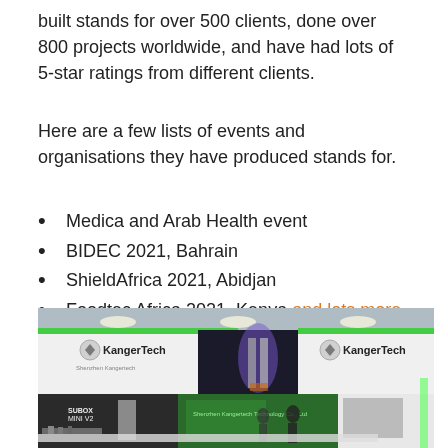built stands for over 500 clients, done over 800 projects worldwide, and have had lots of 5-star ratings from different clients.
Here are a few lists of events and organisations they have produced stands for.
Medica and Arab Health event
BIDEC 2021, Bahrain
ShieldAfrica 2021, Abidjan
Foodtec Africa 2021, Kenya and lots more.
[Figure (photo): KangerTech exhibition stand at a trade show, showing a large curved white and green booth with KangerTech branding, display screens, product displays, and visitors.]